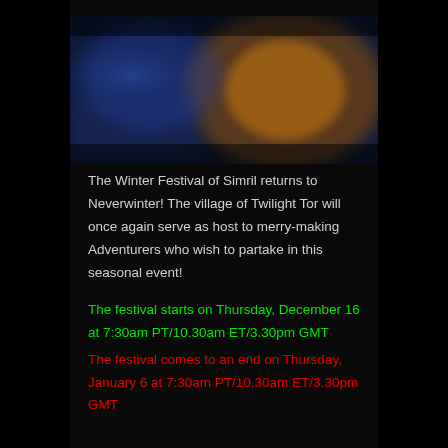[Figure (illustration): Blurred fantasy game scene with dark blue and orange tones, showing a character or landscape at dusk/night]
The Winter Festival of Simril returns to Neverwinter! The village of Twilight Tor will once again serve as host to merry-making Adventurers who wish to partake in this seasonal event!
The festival starts on Thursday, December 16 at 7:30am PT/10.30am ET/3.30pm GMT
The festival comes to an end on Thursday, January 6 at 7:30am PT/10.30am ET/3.30pm GMT